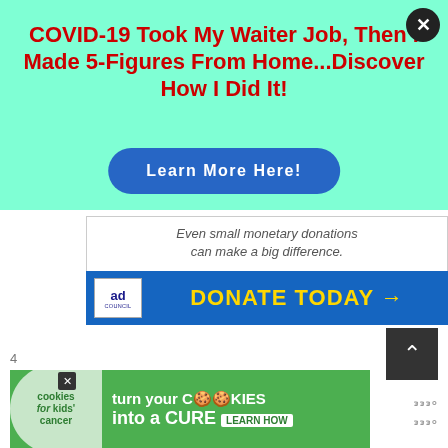[Figure (screenshot): Top overlay advertisement with mint/aqua background. Bold red headline: 'COVID-19 Took My Waiter Job, Then I Made 5-Figures From Home...Discover How I Did It!' with a blue rounded 'Learn More Here!' button. A black circular close (X) button in the top-right corner.]
[Figure (screenshot): Ad Council donation banner with white text area showing partially visible italic text 'Even small monetary donations can make a big difference.' and a blue bar below with Ad Council logo and bold yellow 'DONATE TODAY →' text.]
[Figure (screenshot): Bottom advertisement banner: Cookies for Kids' Cancer — 'turn your COOKIES into a CURE LEARN HOW' on a green background with cookie logo on left.]